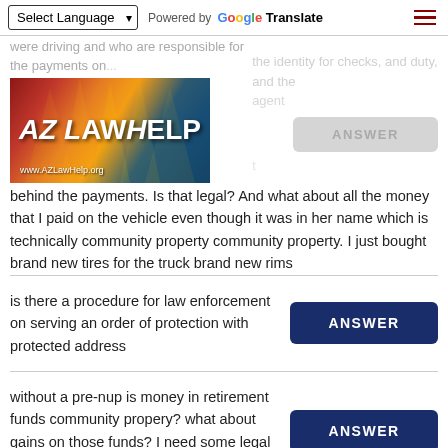Select Language | Powered by Google Translate
[Figure (logo): AZ Law Help logo with Arizona state flag colors. Text: AZ LAW HELP, www.AZLawHelp.org]
were driving and who are responsible for the payments on...the identity for checks, and duty, and the agent
behind the payments. Is that legal? And what about all the money that I paid on the vehicle even though it was in her name which is technically community property community property. I just bought brand new tires for the truck brand new rims
is there a procedure for law enforcement on serving an order of protection with protected address
without a pre-nup is money in retirement funds community propery? what about gains on those funds? I need some legal advise and don't know where to go.